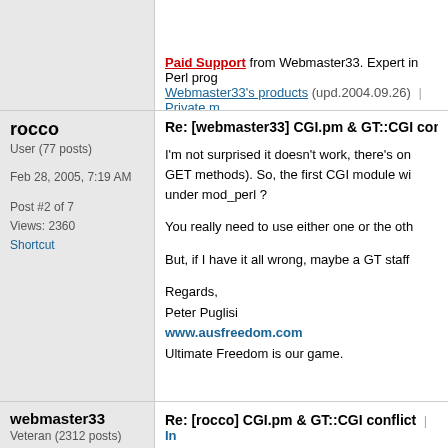Paid Support from Webmaster33. Expert in Perl prog... Webmaster33's products (upd.2004.09.26) | Private m...
rocco
User (77 posts)
Feb 28, 2005, 7:19 AM
Post #2 of 7
Views: 2360
Shortcut
Re: [webmaster33] CGI.pm & GT::CGI conf...
I'm not surprised it doesn't work, there's on... GET methods). So, the first CGI module wi... under mod_perl ?

You really need to use either one or the oth...

But, if I have it all wrong, maybe a GT staff...

Regards,
Peter Puglisi
www.ausfreedom.com
Ultimate Freedom is our game.
webmaster33
Veteran (2312 posts)
Re: [rocco] CGI.pm & GT::CGI conflict